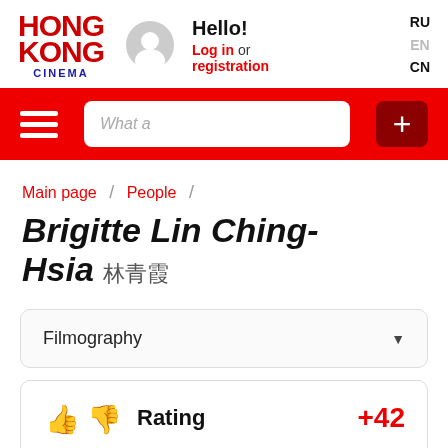Hong Kong Cinema — Hello! Log in or registration — RU EN CN
Main page / People /
Brigitte Lin Ching-Hsia 林青霞
Filmography
Rating +42